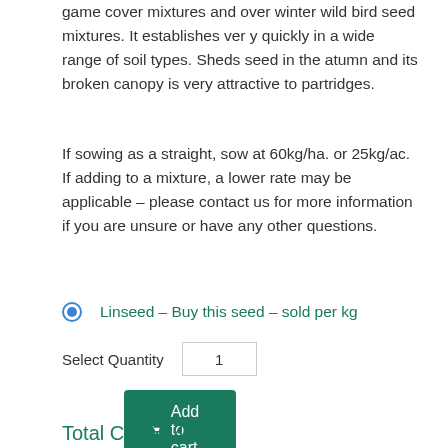game cover mixtures and over winter wild bird seed mixtures. It establishes very quickly in a wide range of soil types. Sheds seed in the atumn and its broken canopy is very attractive to partridges.
If sowing as a straight, sow at 60kg/ha. or 25kg/ac. If adding to a mixture, a lower rate may be applicable – please contact us for more information if you are unsure or have any other questions.
Linseed – Buy this seed – sold per kg
Select Quantity  1
Add to cart
Total Cost: £4.00